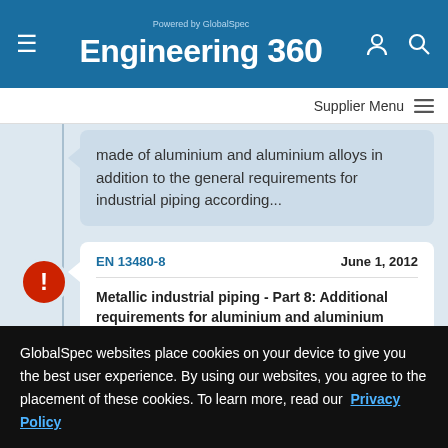Engineering 360 — Powered by GlobalSpec
Supplier Menu
made of aluminium and aluminium alloys in addition to the general requirements for industrial piping according...
EN 13480-8    June 1, 2012
Metallic industrial piping - Part 8: Additional requirements for aluminium and aluminium alloy piping
A description is not available for this item.
GlobalSpec websites place cookies on your device to give you the best user experience. By using our websites, you agree to the placement of these cookies. To learn more, read our Privacy Policy